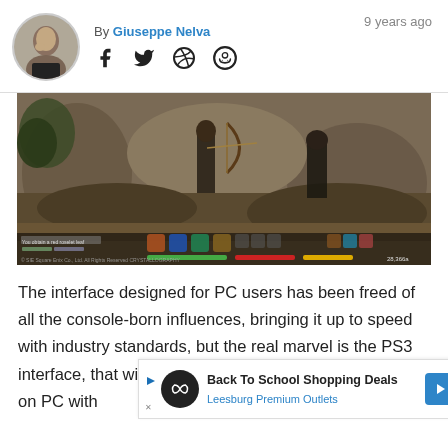By Giuseppe Nelva   9 years ago
[Figure (screenshot): Video game screenshot showing an archer character drawing a bow in a fantasy rocky landscape, with game HUD elements visible including health/stamina bars and item inventory icons at the bottom]
The interface designed for PC users has been freed of all the console-born influences, bringing it up to speed with industry standards, but the real marvel is the PS3 interface, that will also be usable by those that will play on PC wit
[Figure (infographic): Advertisement banner: Back To School Shopping Deals - Leesburg Premium Outlets]